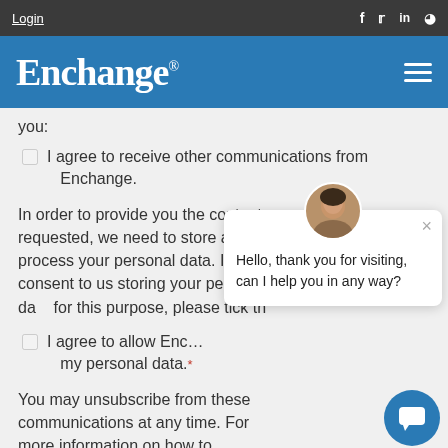Login  f  t  in  rss
[Figure (logo): Enchange logo in white text on blue background with hamburger menu icon]
you:
I agree to receive other communications from Enchange.
In order to provide you the content requested, we need to store and process your personal data. If you consent to us storing your personal data for this purpose, please tick th
I agree to allow Enc... my personal data.*
[Figure (screenshot): Chat popup with avatar photo of woman, close X button, and message: Hello, thank you for visiting, can I help you in any way?]
You may unsubscribe from these communications at any time. For more information on how to unsubscribe, our privacy practices, and how we are committed to protecting and respecting your